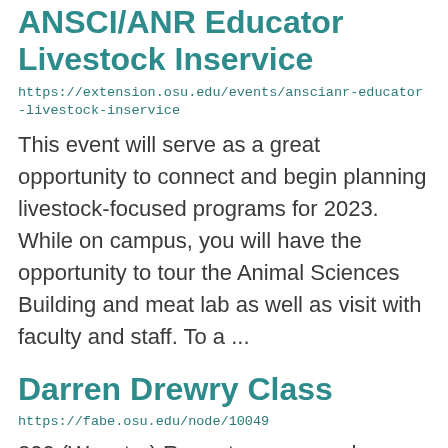ANSCI/ANR Educator Livestock Inservice
https://extension.osu.edu/events/anscianr-educator-livestock-inservice
This event will serve as a great opportunity to connect and begin planning livestock-focused programs for 2023. While on campus, you will have the opportunity to tour the Animal Sciences Building and meat lab as well as visit with faculty and staff. To a ...
Darren Drewry Class
https://fabe.osu.edu/node/10049
200 (Wooster) Repeats every week every